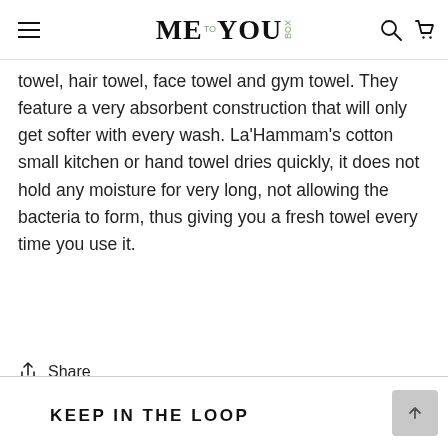ME TO YOU BOX
towel, hair towel, face towel and gym towel. They feature a very absorbent construction that will only get softer with every wash. La'Hammam's cotton small kitchen or hand towel dries quickly, it does not hold any moisture for very long, not allowing the bacteria to form, thus giving you a fresh towel every time you use it.
Share
KEEP IN THE LOOP